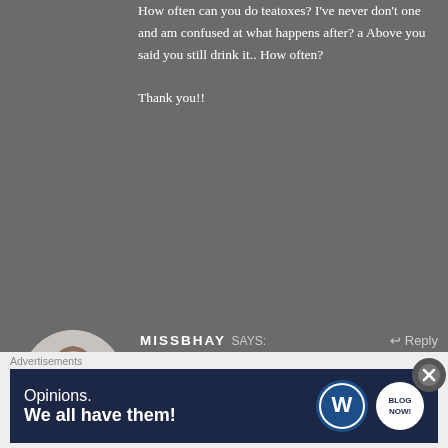How often can you do teatoxes? I've never don't one and am confused at what happens after? a Above you said you still drink it.. How often?

Thank you!!
[Figure (photo): Circular avatar photo of a person with short hair, wearing dark clothing]
MISSBHAY says: November 22, 2015 at 1:15 PM
Hello! Thanks so much for stopping by my blog! I don't really have a normal schedule for a teatox because I drink tea on the reg. But for instance, I will do a four week cycle of the flat tummy tea.. Then I will order another pack, and because I live in Canada and can take a few weeks to come, I drink other teas in the mean time. Then when it comes I do
Advertisements
[Figure (infographic): Dark blue advertisement banner reading 'Opinions. We all have them!' with WordPress and Blog Now logos]